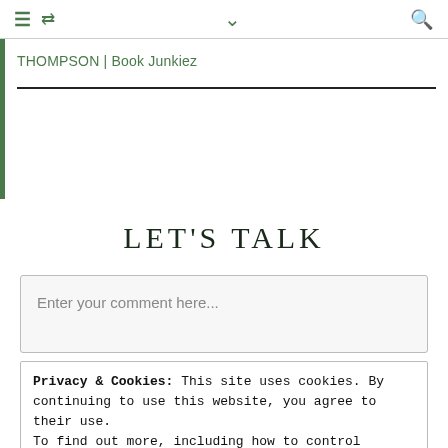≡ ↺  ⌄  🔍
THOMPSON | Book Junkiez
LET'S TALK
Enter your comment here...
Privacy & Cookies: This site uses cookies. By continuing to use this website, you agree to their use.
To find out more, including how to control cookies, see here: Cookie Policy
Close and accept